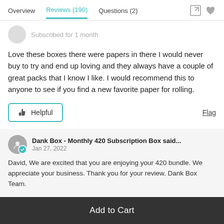Overview   Reviews (190)   Questions (2)
Subscribed for 1 month
Love these boxes there were papers in there I would never buy to try and end up loving and they always have a couple of great packs that I know I like. I would recommend this to anyone to see if you find a new favorite paper for rolling.
Helpful   Flag
Dank Box - Monthly 420 Subscription Box said...
Jan 27, 2022
David, We are excited that you are enjoying your 420 bundle. We appreciate your business. Thank you for your review. Dank Box Team.
Add to Cart